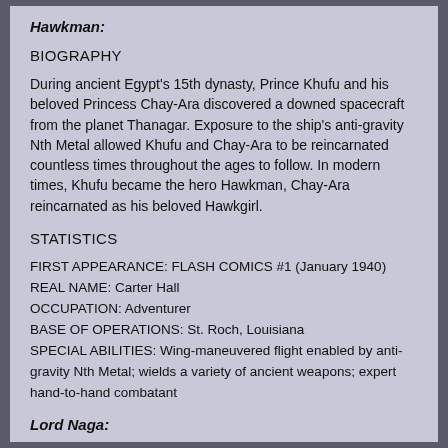Hawkman:
BIOGRAPHY
During ancient Egypt's 15th dynasty, Prince Khufu and his beloved Princess Chay-Ara discovered a downed spacecraft from the planet Thanagar. Exposure to the ship's anti-gravity Nth Metal allowed Khufu and Chay-Ara to be reincarnated countless times throughout the ages to follow. In modern times, Khufu became the hero Hawkman, Chay-Ara reincarnated as his beloved Hawkgirl.
STATISTICS
FIRST APPEARANCE: FLASH COMICS #1 (January 1940)
REAL NAME: Carter Hall
OCCUPATION: Adventurer
BASE OF OPERATIONS: St. Roch, Louisiana
SPECIAL ABILITIES: Wing-maneuvered flight enabled by anti-gravity Nth Metal; wields a variety of ancient weapons; expert hand-to-hand combatant
Lord Naga: